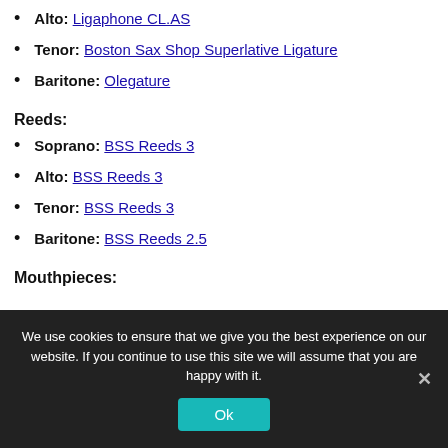Alto: Ligaphone CL.AS
Tenor: Boston Sax Shop Superlative Ligature
Baritone: Olegature
Reeds:
Soprano: BSS Reeds 3
Alto: BSS Reeds 3
Tenor: BSS Reeds 3
Baritone: BSS Reeds 2.5
Mouthpieces:
We use cookies to ensure that we give you the best experience on our website. If you continue to use this site we will assume that you are happy with it.